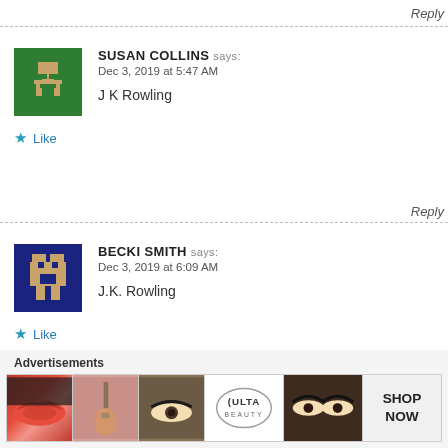Reply
SUSAN COLLINS says: Dec 3, 2019 at 5:47 AM
J K Rowling
Like
Reply
BECKI SMITH says: Dec 3, 2019 at 6:09 AM
J.K. Rowling
Like
Reply
Advertisements
[Figure (photo): Advertisement banner showing makeup/beauty products including lips, brush, eye, Ulta Beauty logo, eyes with makeup, and Shop Now button]